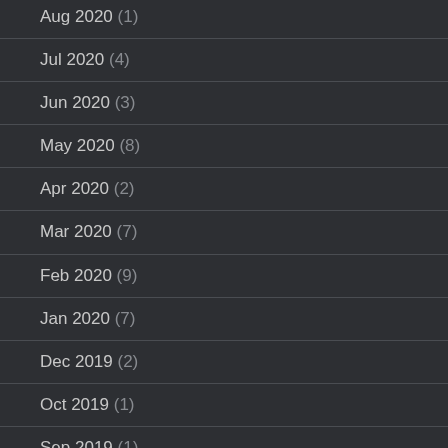Aug 2020 (1)
Jul 2020 (4)
Jun 2020 (3)
May 2020 (8)
Apr 2020 (2)
Mar 2020 (7)
Feb 2020 (9)
Jan 2020 (7)
Dec 2019 (2)
Oct 2019 (1)
Sep 2019 (1)
Aug 2019 (1)